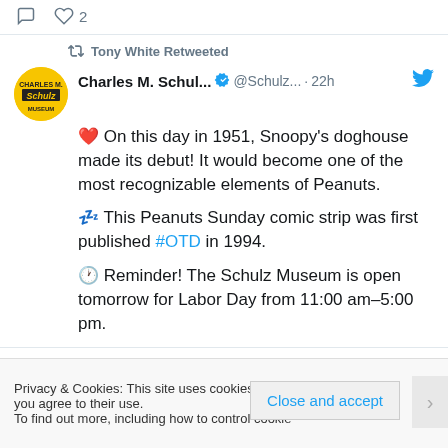[Figure (screenshot): Twitter/social media post interaction bar with reply icon and heart icon with count 2]
Tony White Retweeted
Charles M. Schul... @Schulz... · 22h
❤ On this day in 1951, Snoopy's doghouse made its debut! It would become one of the most recognizable elements of Peanuts.
💤 This Peanuts Sunday comic strip was first published #OTD in 1994.
🕐 Reminder! The Schulz Museum is open tomorrow for Labor Day from 11:00 am–5:00 pm.
Privacy & Cookies: This site uses cookies. By continuing to use this website, you agree to their use. To find out more, including how to control cookies, see here:
Close and accept